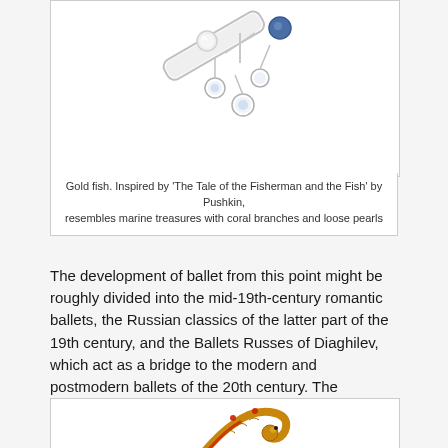[Figure (photo): Gold fish jewelry piece — a brooch or pendant inspired by 'The Tale of the Fisherman and the Fish' by Pushkin, with diamond-set elements, a pearl, and blue gemstone, shown on white background.]
Gold fish. Inspired by 'The Tale of the Fisherman and the Fish' by Pushkin, resembles marine treasures with coral branches and loose pearls
The development of ballet from this point might be roughly divided into the mid-19th-century romantic ballets, the Russian classics of the latter part of the 19th century, and the Ballets Russes of Diaghilev, which act as a bridge to the modern and postmodern ballets of the 20th century. The romantic ballets have characteristics common to Romanticism across the arts, of the creation of an ethereal, idealized world. Dancing on point and the use of gauzy white floating fabric helped to create this illusion.
[Figure (photo): Gold colored jewelry piece with red enamel accents and snake-like or dragon-like form, shown on white background — partially visible at bottom of page.]